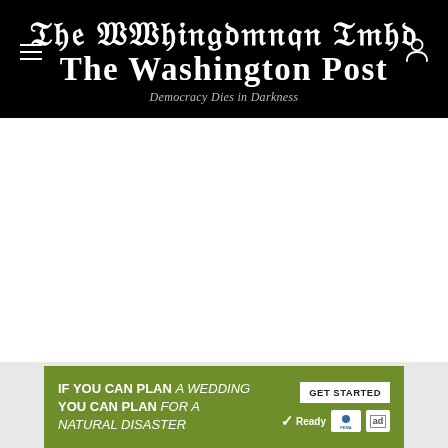The Washington Post — Democracy Dies in Darkness
[Figure (other): Large white blank content area below the header]
[Figure (other): FEMA Ready.gov advertisement banner: IF YOU CAN PLAN A WEDDING YOU CAN PLAN FOR A NATURAL DISASTER — GET STARTED button with Ready, FEMA, and ad logos]